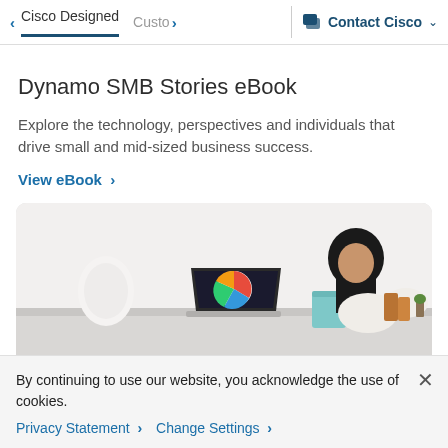< Cisco Designed  Custo >  Contact Cisco v
Dynamo SMB Stories eBook
Explore the technology, perspectives and individuals that drive small and mid-sized business success.
View eBook >
[Figure (photo): Woman with dark hair sitting at a desk working on a laptop. A colorful pie chart is visible on the laptop screen. A light blue mug is on the desk beside the laptop. Various items on the desk in a bright, minimalist workspace.]
By continuing to use our website, you acknowledge the use of cookies.
Privacy Statement >  Change Settings >